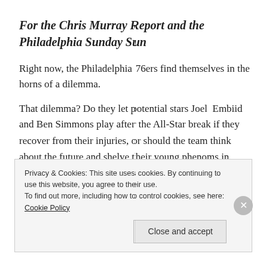For the Chris Murray Report and the Philadelphia Sunday Sun
Right now, the Philadelphia 76ers find themselves in the horns of a dilemma.
That dilemma? Do they let potential stars Joel Embiid and Ben Simmons play after the All-Star break if they recover from their injuries, or should the team think about the future and shelve their young phenoms in anticipation of future greatness?
Privacy & Cookies: This site uses cookies. By continuing to use this website, you agree to their use.
To find out more, including how to control cookies, see here: Cookie Policy
Close and accept